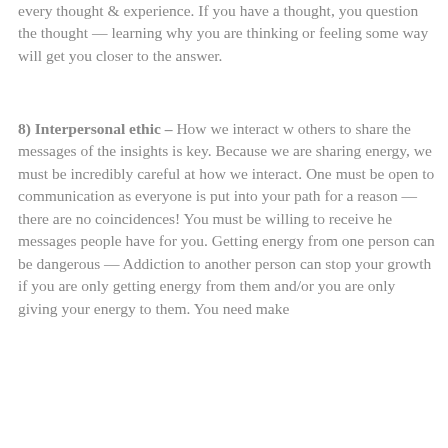every thought & experience. If you have a thought, you question the thought — learning why you are thinking or feeling some way will get you closer to the answer.
8) Interpersonal ethic – How we interact w others to share the messages of the insights is key. Because we are sharing energy, we must be incredibly careful at how we interact. One must be open to communication as everyone is put into your path for a reason — there are no coincidences! You must be willing to receive he messages people have for you. Getting energy from one person can be dangerous — Addiction to another person can stop your growth if you are only getting energy from them and/or you are only giving your energy to them. You need make